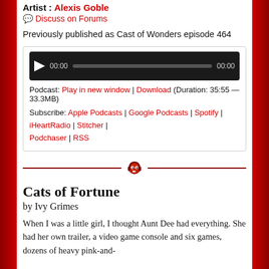Artist: Alexis Goble
Discuss on Forums
Previously published as Cast of Wonders episode 464
[Figure (other): Audio player widget with play button, progress bar, and timestamps 00:00 / 00:00]
Podcast: Play in new window | Download (Duration: 35:55 — 33.3MB)
Subscribe: Apple Podcasts | Google Podcasts | Spotify | iHeartRadio | Stitcher | Podchaser | RSS
[Figure (illustration): Decorative divider with a red skull wearing headphones icon centered between two horizontal red lines]
Cats of Fortune
by Ivy Grimes
When I was a little girl, I thought Aunt Dee had everything. She had her own trailer, a video game console and six games, dozens of heavy pink-and-